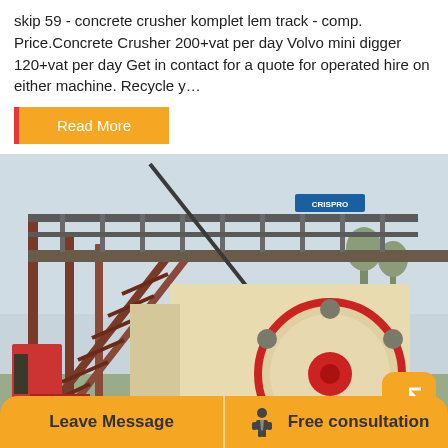skip 59 - concrete crusher komplet lem track - comp. Price.Concrete Crusher 200+vat per day Volvo mini digger 120+vat per day Get in contact for a quote for operated hire on either machine. Recycle y…
Read More
[Figure (photo): Industrial concrete crusher / jaw crusher machine with large flywheel (cream and red), mounted on a steel frame structure with metal staircases and railings. Blue sign visible at top. Outdoor industrial setting with trees in background.]
Leave Message
Free consultation